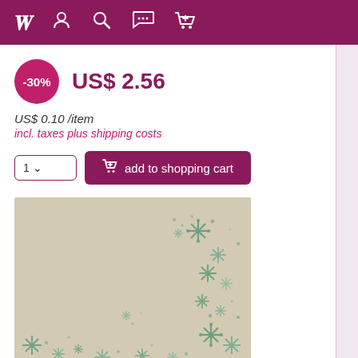Navigation bar with icons: W logo, user, search, chat, cart
-30%  US$ 2.56
US$ 0.10 /item
incl. taxes plus shipping costs
1 ▾  add to shopping cart
[Figure (photo): Beige/kraft paper with green snowflake decorations scattered across it, heavier concentration on the right side and bottom]